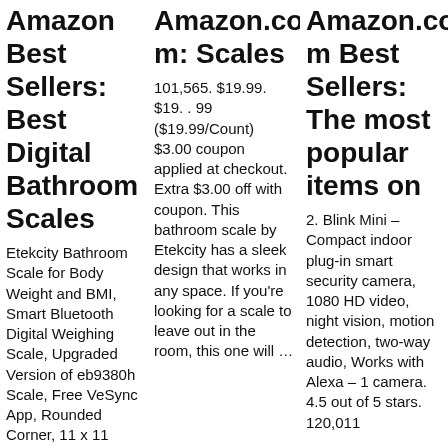Amazon Best Sellers: Best Digital Bathroom Scales
Etekcity Bathroom Scale for Body Weight and BMI, Smart Bluetooth Digital Weighing Scale, Upgraded Version of eb9380h Scale, Free VeSync App, Rounded Corner, 11 x 11 inches, 0.1lb
Amazon.com: Scales
101,565. $19.99. $19. . 99 ($19.99/Count) $3.00 coupon applied at checkout. Extra $3.00 off with coupon. This bathroom scale by Etekcity has a sleek design that works in any space. If you're looking for a scale to leave out in the room, this one will …
Amazon.com Best Sellers: The most popular items on
2. Blink Mini – Compact indoor plug-in smart security camera, 1080 HD video, night vision, motion detection, two-way audio, Works with Alexa – 1 camera. 4.5 out of 5 stars. 120,011